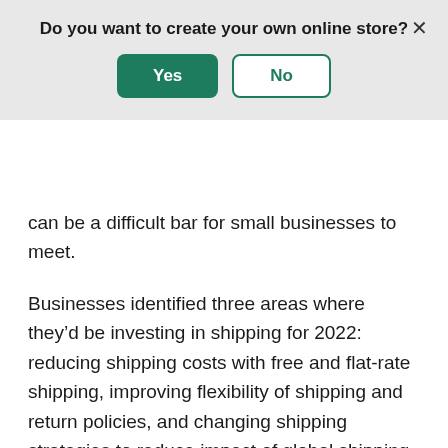[Figure (screenshot): A modal dialog overlay with the question 'Do you want to create your own online store?' and two buttons: a green filled 'Yes' button and a white outlined 'No' button, with an X close button in the top right corner.]
can be a difficult bar for small businesses to meet.
Businesses identified three areas where they'd be investing in shipping for 2022: reducing shipping costs with free and flat-rate shipping, improving flexibility of shipping and return policies, and changing shipping strategies to reduce impact of global shipping delays.
Free shipping is a proven method for increasing conversion and order values and